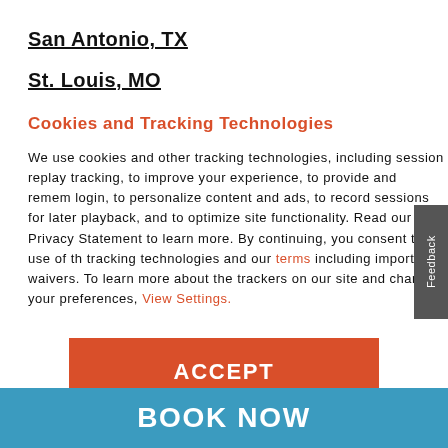San Antonio, TX
St. Louis, MO
Cookies and Tracking Technologies
We use cookies and other tracking technologies, including session replay tracking, to improve your experience, to provide and remember login, to personalize content and ads, to record sessions for later playback, and to optimize site functionality. Read our Privacy Statement to learn more. By continuing, you consent to our use of the tracking technologies and our terms including important waivers. To learn more about the trackers on our site and change your preferences, View Settings.
ACCEPT
BOOK NOW